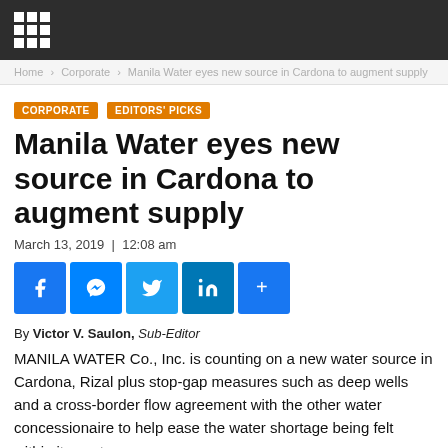Manila Water eyes new source in Cardona to augment supply
Home › Corporate › Manila Water eyes new source in Cardona to augment supply
CORPORATE   EDITORS' PICKS
Manila Water eyes new source in Cardona to augment supply
March 13, 2019 | 12:08 am
[Figure (infographic): Social media share buttons: Facebook, Messenger, Twitter, LinkedIn, More]
By Victor V. Saulon, Sub-Editor
MANILA WATER Co., Inc. is counting on a new water source in Cardona, Rizal plus stop-gap measures such as deep wells and a cross-border flow agreement with the other water concessionaire to help ease the water shortage being felt within its east zone